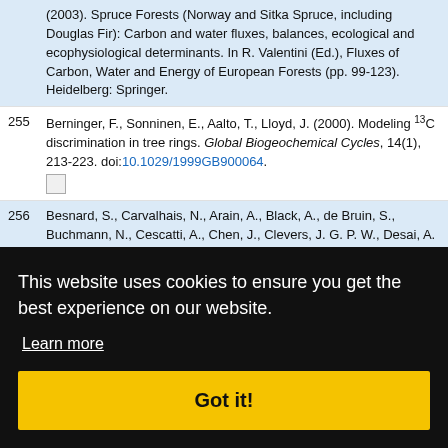(2003). Spruce Forests (Norway and Sitka Spruce, including Douglas Fir): Carbon and water fluxes, balances, ecological and ecophysiological determinants. In R. Valentini (Ed.), Fluxes of Carbon, Water and Energy of European Forests (pp. 99-123). Heidelberg: Springer.
255 Berninger, F., Sonninen, E., Aalto, T., Lloyd, J. (2000). Modeling 13C discrimination in tree rings. Global Biogeochemical Cycles, 14(1), 213-223. doi:10.1029/1999GB900064.
256 Besnard, S., Carvalhais, N., Arain, A., Black, A., de Bruin, S., Buchmann, N., Cescatti, A., Chen, J., Clevers, J. G. P. W., Desai, A. R., Gough, C. M., Havrankova, K., Herold, M., Hörtnagl, L., Jung, M., Knohl, A., Kruijt, B., Krupkova, L., Law, B. E., Lindroth, A., Noormets, A., Roupsard, O., Steinbrecher, R., Varlagin, A., Vincke, C., Reichstein, M. (2018). Quantifying the effect of forest ... Research
258 Besnard, S., Koirala, S., Santoro, M., Weber, U., Nelson, J. A., ...